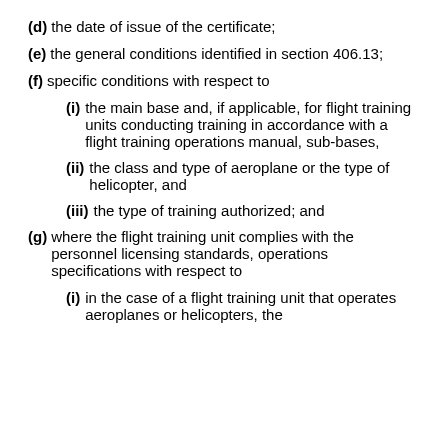(d) the date of issue of the certificate;
(e) the general conditions identified in section 406.13;
(f) specific conditions with respect to
(i) the main base and, if applicable, for flight training units conducting training in accordance with a flight training operations manual, sub-bases,
(ii) the class and type of aeroplane or the type of helicopter, and
(iii) the type of training authorized; and
(g) where the flight training unit complies with the personnel licensing standards, operations specifications with respect to
(i) in the case of a flight training unit that operates aeroplanes or helicopters, the